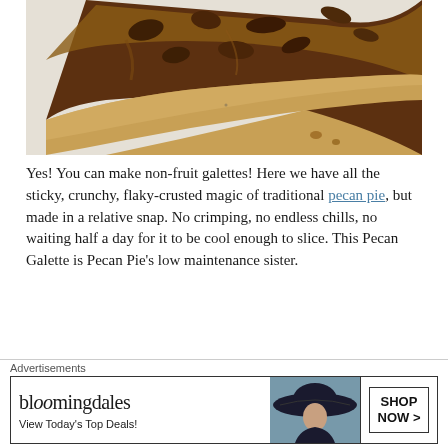[Figure (photo): Close-up photo of a pecan galette slice showing sticky caramelized pecan filling with a flaky golden-brown crust on a white/light gray background]
Yes! You can make non-fruit galettes! Here we have all the sticky, crunchy, flaky-crusted magic of traditional pecan pie, but made in a relative snap. No crimping, no endless chills, no waiting half a day for it to be cool enough to slice. This Pecan Galette is Pecan Pie's low maintenance sister.
[Figure (photo): Two partial images at bottom: left shows a baking pan on light background, right shows golden/yellow colored food item with a close button overlay]
Advertisements
[Figure (photo): Bloomingdale's advertisement banner showing logo, woman with wide-brim hat, and Shop Now button with tagline View Today's Top Deals!]